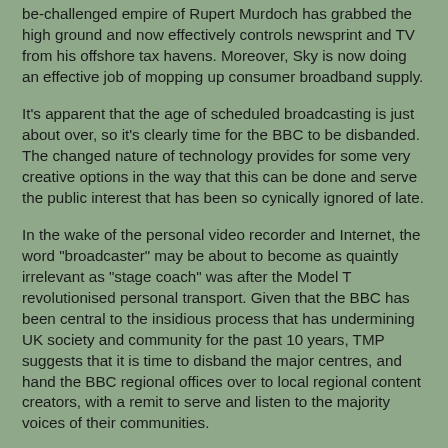be-challenged empire of Rupert Murdoch has grabbed the high ground and now effectively controls newsprint and TV from his offshore tax havens. Moreover, Sky is now doing an effective job of mopping up consumer broadband supply.
It's apparent that the age of scheduled broadcasting is just about over, so it's clearly time for the BBC to be disbanded. The changed nature of technology provides for some very creative options in the way that this can be done and serve the public interest that has been so cynically ignored of late.
In the wake of the personal video recorder and Internet, the word "broadcaster" may be about to become as quaintly irrelevant as "stage coach" was after the Model T revolutionised personal transport. Given that the BBC has been central to the insidious process that has undermining UK society and community for the past 10 years, TMP suggests that it is time to disband the major centres, and hand the BBC regional offices over to local regional content creators, with a remit to serve and listen to the majority voices of their communities.